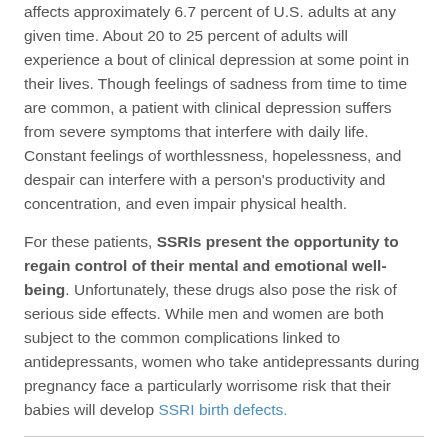affects approximately 6.7 percent of U.S. adults at any given time. About 20 to 25 percent of adults will experience a bout of clinical depression at some point in their lives. Though feelings of sadness from time to time are common, a patient with clinical depression suffers from severe symptoms that interfere with daily life. Constant feelings of worthlessness, hopelessness, and despair can interfere with a person's productivity and concentration, and even impair physical health.
For these patients, SSRIs present the opportunity to regain control of their mental and emotional well-being. Unfortunately, these drugs also pose the risk of serious side effects. While men and women are both subject to the common complications linked to antidepressants, women who take antidepressants during pregnancy face a particularly worrisome risk that their babies will develop SSRI birth defects.
Types of antidepressants